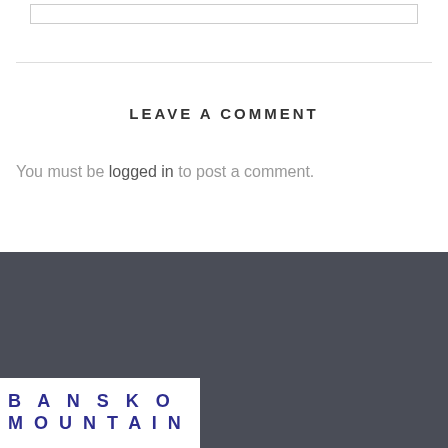LEAVE A COMMENT
You must be logged in to post a comment.
[Figure (logo): Bansko Mountain logo — white background with bold dark blue lettering reading BANSKO on top and MOUNTAIN below in spaced caps]